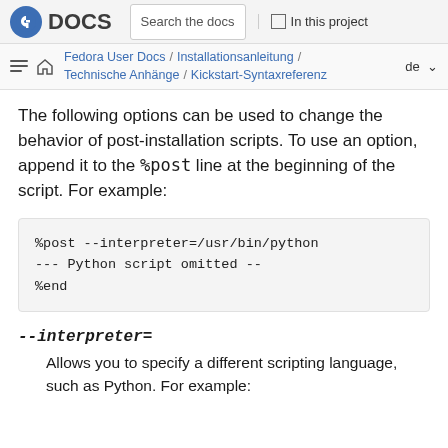Fedora DOCS | Search the docs | In this project
Fedora User Docs / Installationsanleitung / Technische Anhänge / Kickstart-Syntaxreferenz  de
The following options can be used to change the behavior of post-installation scripts. To use an option, append it to the %post line at the beginning of the script. For example:
%post --interpreter=/usr/bin/python
--- Python script omitted --
%end
--interpreter=
Allows you to specify a different scripting language, such as Python. For example: